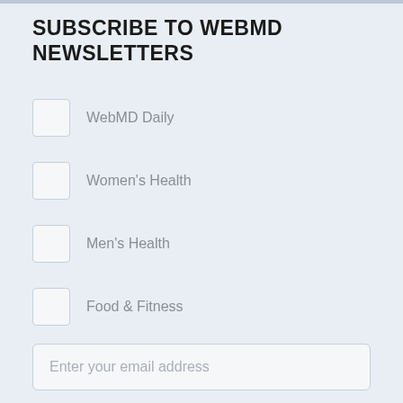SUBSCRIBE TO WEBMD NEWSLETTERS
WebMD Daily
Women's Health
Men's Health
Food & Fitness
Enter your email address
Subscribe
By clicking "Subscribe," I agree to the WebMD Terms and Conditions and Privacy Policy. I also agree to receive emails from WebMD and I understand
ADVERTISEMENT
[Figure (infographic): Advertisement banner for Wegmans: School Snacks They'll Love with orange logo and blue arrow button]